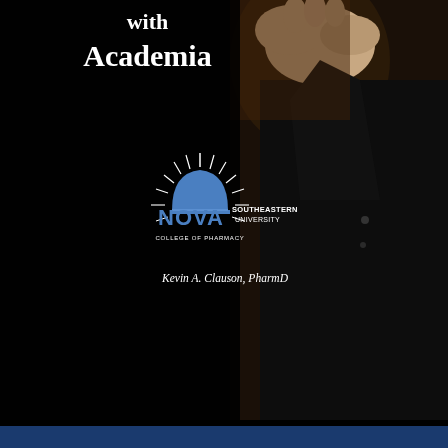with Academia
[Figure (logo): Nova Southeastern University College of Pharmacy logo with sunburst graphic and NOVA text in blue]
Kevin A. Clauson, PharmD
[Figure (photo): Dark background photo of a person in a black suit/jacket, partially visible on the right side of the cover]